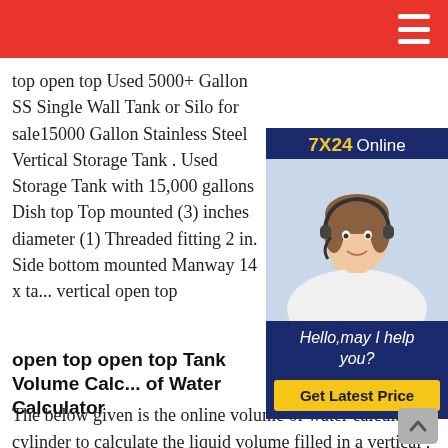top open top Used 5000+ Gallon SS Single Wall Tank or Silo for sale15000 Gallon Stainless Steel Vertical Storage Tank . Used Storage Tank with 15,000 gallons Dish top Top mounted (3) inches diameter (1) Threaded fitting 2 in. Side bottom mounted Manway 14 x ta... vertical open top
[Figure (photo): Customer service representative with headset, 7X24 Online chat widget with 'Hello, may I help you?' message and 'Get Latest Price' button]
open top open top Tank Volume Calculator of Water Calculator
The below given is the online volume of water calculator cylinder to calculate the liquid volume filled in a vertical , horizontal, rectangle, horizontal oval, vertical oval, horizontal capsule and vertical capsule cylinder. Just choose the cylinder type and fill the requested